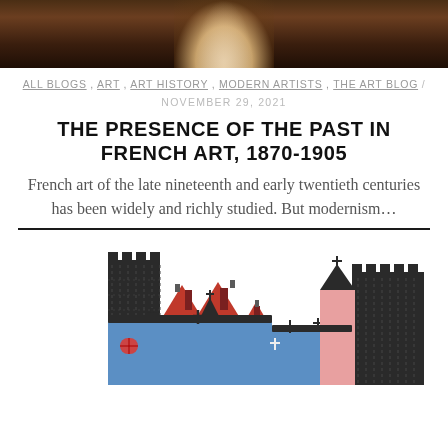[Figure (photo): Top portion of a painting showing a figure with pale skin against a dark warm background]
ALL BLOGS, ART, ART HISTORY, MODERN ARTISTS, THE ART BLOG / NOVEMBER 29, 2021
THE PRESENCE OF THE PAST IN FRENCH ART, 1870-1905
French art of the late nineteenth and early twentieth centuries has been widely and richly studied. But modernism...
[Figure (illustration): Colorful illustrated skyline of medieval-style buildings including blue houses, red rooftops, and dark castle towers]